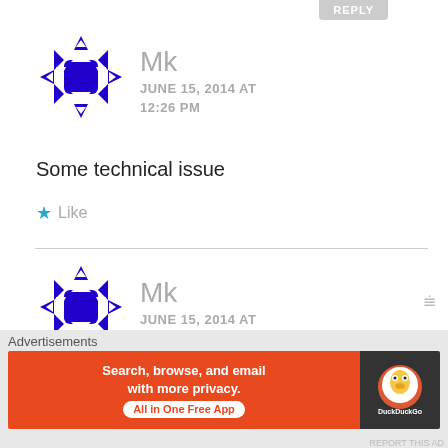REPLY
[Figure (illustration): Purple soccer-ball-like avatar icon for user Mk]
Mk
JUNE 15, 2014 AT 12:26 PM
Some technical issue
★ Like
[Figure (illustration): Purple soccer-ball-like avatar icon for user Mk]
Mk
JUNE 15, 2014 AT 12:28 PM
Advertisements
[Figure (screenshot): DuckDuckGo advertisement banner: Search, browse, and email with more privacy. All in One Free App]